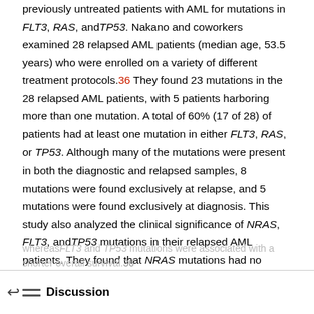previously untreated patients with AML for mutations in FLT3, RAS, and TP53. Nakano and coworkers examined 28 relapsed AML patients (median age, 53.5 years) who were enrolled on a variety of different treatment protocols.36 They found 23 mutations in the 28 relapsed AML patients, with 5 patients harboring more than one mutation. A total of 60% (17 of 28) of patients had at least one mutation in either FLT3, RAS, or TP53. Although many of the mutations were present in both the diagnostic and relapsed samples, 8 mutations were found exclusively at relapse, and 5 mutations were found exclusively at diagnosis. This study also analyzed the clinical significance of NRAS, FLT3, and TP53 mutations in their relapsed AML patients. They found that NRAS mutations had no impact on prognosis,
Discussion
whereas FLT3 and TP53 mutations were associated with a shorter overall survival.36